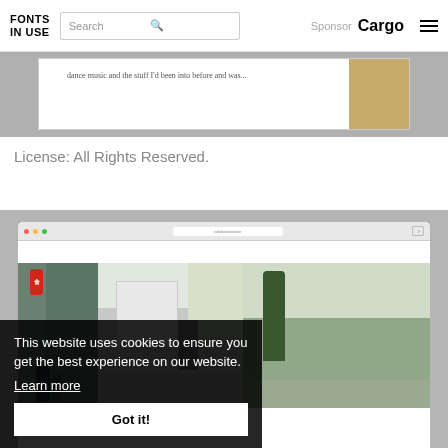FONTS IN USE | Search | Sponsor Cargo
[Figure (screenshot): Partial screenshot of a website showing text about dance music]
License: All Rights Reserved.
[Figure (screenshot): Browser window showing a photo gallery website with three photos of Japanese street scenes and a cookie consent banner]
This website uses cookies to ensure you get the best experience on our website. Learn more
Got it!